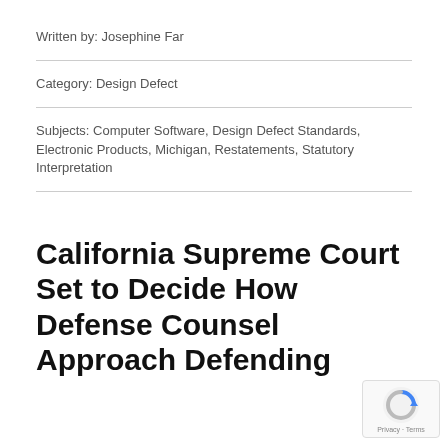Written by: Josephine Far
Category: Design Defect
Subjects: Computer Software, Design Defect Standards, Electronic Products, Michigan, Restatements, Statutory Interpretation
California Supreme Court Set to Decide How Defense Counsel Approach Defending